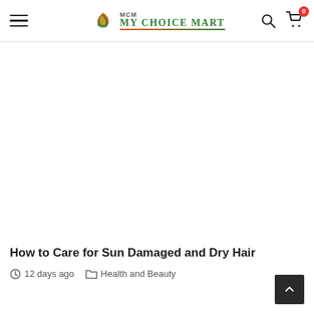My Choice Mart — navigation header with hamburger menu, logo, search and cart icons
How to Care for Sun Damaged and Dry Hair
12 days ago   Health and Beauty